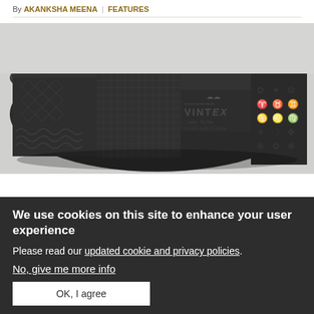By AKANKSHA MEENA | FEATURES
[Figure (photo): A dark grey/black rolled-up yoga mat with embossed patterns (geometric, wave, grid, zodiac/icon symbols) and a VINTEX brand label visible in the center]
We use cookies on this site to enhance your user experience
Please read our updated cookie and privacy policies.
No, give me more info
OK, I agree